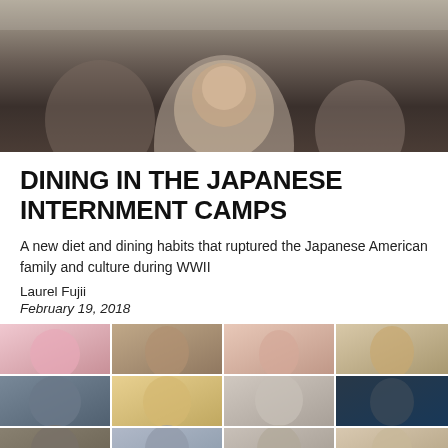[Figure (photo): Cropped photo of an older woman smiling, dark background]
DINING IN THE JAPANESE INTERNMENT CAMPS
A new diet and dining habits that ruptured the Japanese American family and culture during WWII
Laurel Fujii
February 19, 2018
[Figure (photo): Grid of portrait photos of Asian and non-Asian individuals, 4 columns by 3 rows]
AGAINST “FIRE AND FURY”